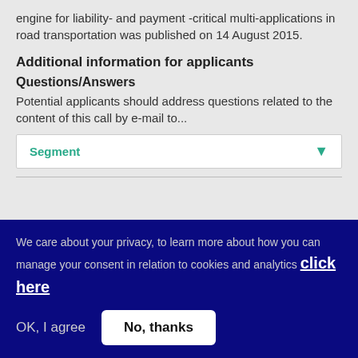engine for liability- and payment -critical multi-applications in road transportation was published on 14 August 2015.
Additional information for applicants
Questions/Answers
Potential applicants should address questions related to the content of this call by e-mail to...
Segment
We care about your privacy, to learn more about how you can manage your consent in relation to cookies and analytics click here
OK, I agree
No, thanks